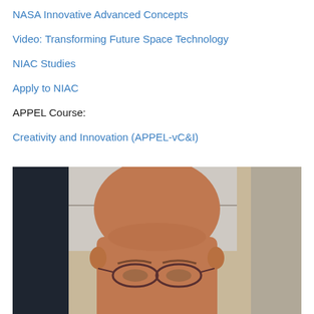NASA Innovative Advanced Concepts
Video: Transforming Future Space Technology
NIAC Studies
Apply to NIAC
APPEL Course:
Creativity and Innovation (APPEL-vC&I)
[Figure (photo): Close-up photo of a balding middle-aged man wearing glasses, taken indoors with a blurred background showing a window and dark curtain.]